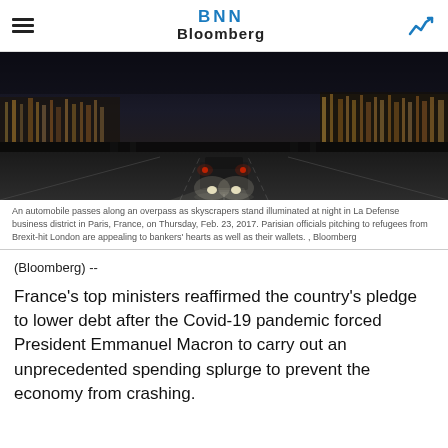BNN Bloomberg
[Figure (photo): Nighttime photograph of an automobile passing along an overpass with skyscrapers illuminated in the La Defense business district in Paris, France]
An automobile passes along an overpass as skyscrapers stand illuminated at night in La Defense business district in Paris, France, on Thursday, Feb. 23, 2017. Parisian officials pitching to refugees from Brexit-hit London are appealing to bankers' hearts as well as their wallets. , Bloomberg
(Bloomberg) --
France's top ministers reaffirmed the country's pledge to lower debt after the Covid-19 pandemic forced President Emmanuel Macron to carry out an unprecedented spending splurge to prevent the economy from crashing.